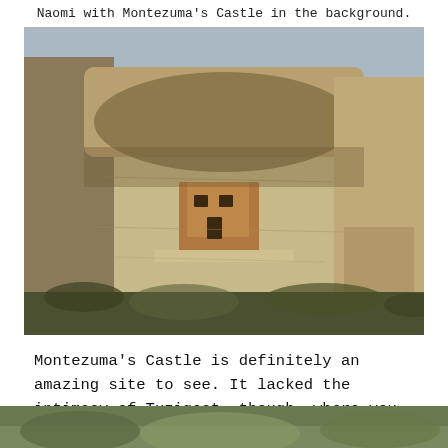Naomi with Montezuma's Castle in the background.
[Figure (photo): Photograph of Montezuma's Castle cliff dwelling set into a limestone cliff face with brush in the foreground and a blue-grey sky above.]
Montezuma's Castle is definitely an amazing site to see. It lacked the intimacy of Tuzigoot, though, where you could walk around inside it.
[Figure (photo): Partial view of another outdoor scene, cropped at bottom of page.]